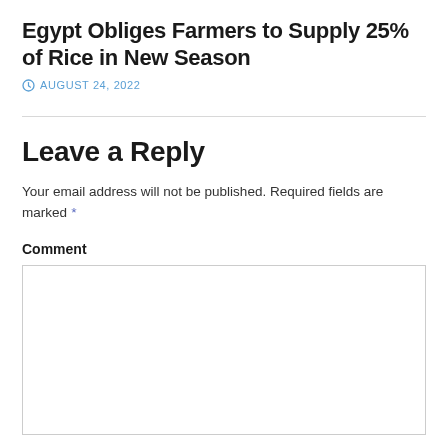Egypt Obliges Farmers to Supply 25% of Rice in New Season
AUGUST 24, 2022
Leave a Reply
Your email address will not be published. Required fields are marked *
Comment